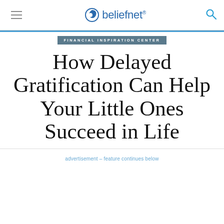beliefnet
FINANCIAL INSPIRATION CENTER
How Delayed Gratification Can Help Your Little Ones Succeed in Life
advertisement – feature continues below